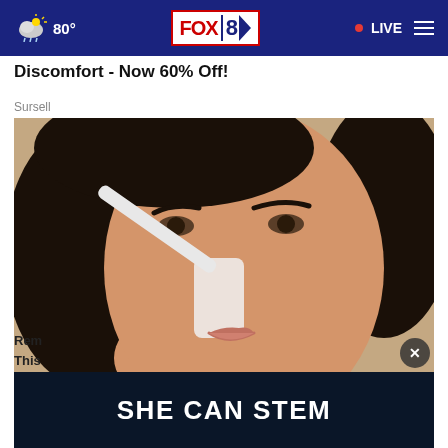FOX 8  |  80°  |  LIVE
Discomfort - Now 60% Off!
Sursell
[Figure (photo): Close-up of a woman with dark hair applying a white strip or product to her nose with a white applicator tool, on a beige background]
Rem...
This...
[Figure (infographic): Dark navy banner advertisement with bold white text reading SHE CAN STEM]
SHE CAN STEM